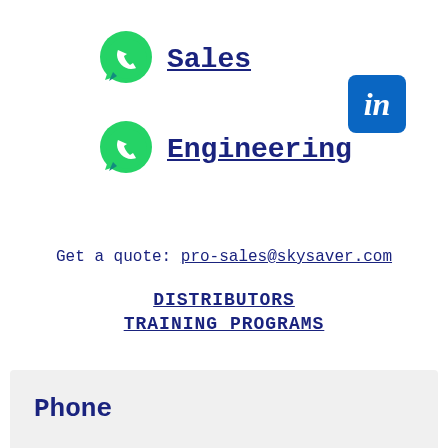[Figure (logo): WhatsApp icon (green speech bubble with phone) next to 'Sales' text link]
[Figure (logo): LinkedIn logo — white 'in' on blue rounded square]
[Figure (logo): WhatsApp icon (green speech bubble with phone) next to 'Engineering' text link]
Get a quote: pro-sales@skysaver.com
DISTRIBUTORS
TRAINING PROGRAMS
Phone